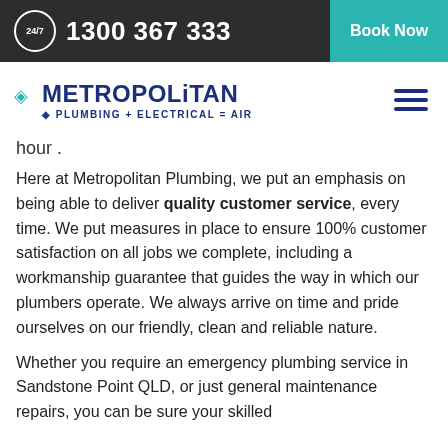24/7  1300 367 333  Book Now
[Figure (logo): Metropolitan Plumbing + Electrical = Air Con logo in dark navy blue]
hour .
Here at Metropolitan Plumbing, we put an emphasis on being able to deliver quality customer service, every time. We put measures in place to ensure 100% customer satisfaction on all jobs we complete, including a workmanship guarantee that guides the way in which our plumbers operate. We always arrive on time and pride ourselves on our friendly, clean and reliable nature.
Whether you require an emergency plumbing service in Sandstone Point QLD, or just general maintenance repairs, you can be sure your skilled